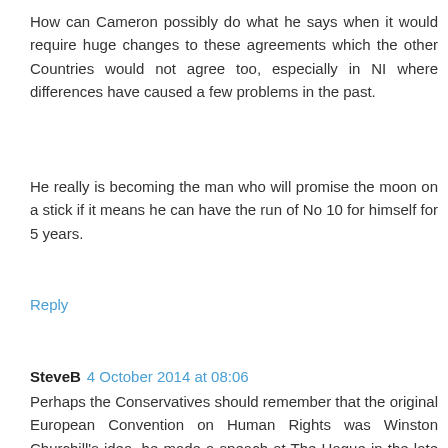How can Cameron possibly do what he says when it would require huge changes to these agreements which the other Countries would not agree too, especially in NI where differences have caused a few problems in the past.
He really is becoming the man who will promise the moon on a stick if it means he can have the run of No 10 for himself for 5 years.
Reply
SteveB  4 October 2014 at 08:06
Perhaps the Conservatives should remember that the original European Convention on Human Rights was Winston Churchill's idea, he made a speach at The Hague in the late 1940s in which he promoted it and specifically said there should be an international court with powers to over rule national courts. There is a newsreel of this but so far I haven't tracked it down on the internet. But I did find his Zurich speach in which he suggested a United States of